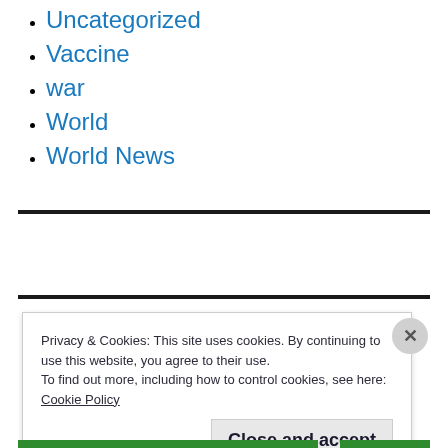Uncategorized
Vaccine
war
World
World News
Privacy & Cookies: This site uses cookies. By continuing to use this website, you agree to their use.
To find out more, including how to control cookies, see here:
Cookie Policy
Close and accept